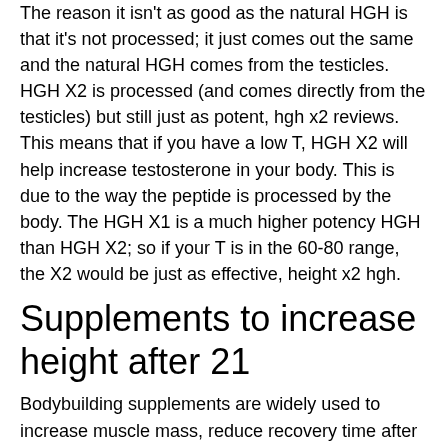The reason it isn't as good as the natural HGH is that it's not processed; it just comes out the same and the natural HGH comes from the testicles. HGH X2 is processed (and comes directly from the testicles) but still just as potent, hgh x2 reviews. This means that if you have a low T, HGH X2 will help increase testosterone in your body. This is due to the way the peptide is processed by the body. The HGH X1 is a much higher potency HGH than HGH X2; so if your T is in the 60-80 range, the X2 would be just as effective, height x2 hgh.
Supplements to increase height after 21
Bodybuilding supplements are widely used to increase muscle mass, reduce recovery time after an intense workout, and to make workouts more beneficialand